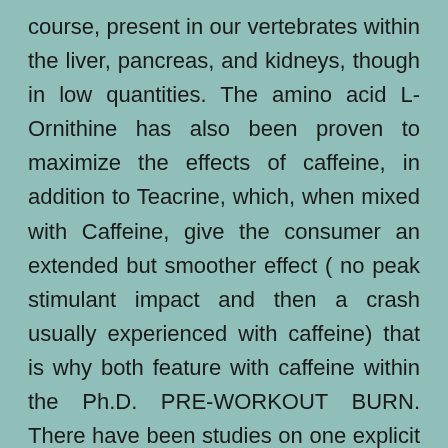course, present in our vertebrates within the liver, pancreas, and kidneys, though in low quantities. The amino acid L-Ornithine has also been proven to maximize the effects of caffeine, in addition to Teacrine, which, when mixed with Caffeine, give the consumer an extended but smoother effect ( no peak stimulant impact and then a crash usually experienced with caffeine) that is why both feature with caffeine within the Ph.D. PRE-WORKOUT BURN. There have been studies on one explicit type of natural fiber complex, referred to as Litramine, that has been proven in supplements to help those who're